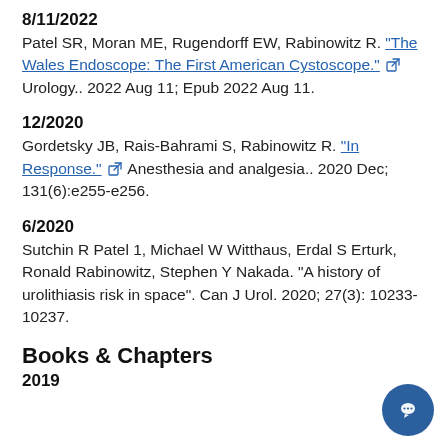8/11/2022
Patel SR, Moran ME, Rugendorff EW, Rabinowitz R. "The Wales Endoscope: The First American Cystoscope." Urology.. 2022 Aug 11; Epub 2022 Aug 11.
12/2020
Gordetsky JB, Rais-Bahrami S, Rabinowitz R. "In Response." Anesthesia and analgesia.. 2020 Dec; 131(6):e255-e256.
6/2020
Sutchin R Patel 1, Michael W Witthaus, Erdal S Erturk, Ronald Rabinowitz, Stephen Y Nakada. "A history of urolithiasis risk in space". Can J Urol. 2020; 27(3): 10233-10237.
Books & Chapters
2019